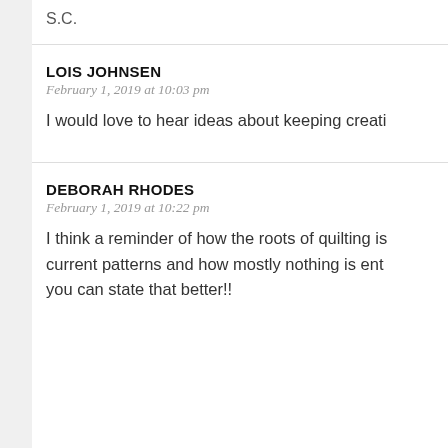S.C.
LOIS JOHNSEN
February 1, 2019 at 10:03 pm
I would love to hear ideas about keeping creati
DEBORAH RHODES
February 1, 2019 at 10:22 pm
I think a reminder of how the roots of quilting is current patterns and how mostly nothing is ent you can state that better!!